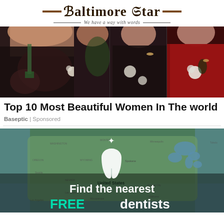Baltimore Star — We have a way with words
[Figure (photo): Photo collage strip showing women in formal/evening wear at events, wearing black dresses and red carpet attire]
Top 10 Most Beautiful Women In The world
Baseptic | Sponsored
[Figure (map): Map of the United States with a tooth/dentist icon overlay and text 'Find the nearest FREE dentists']